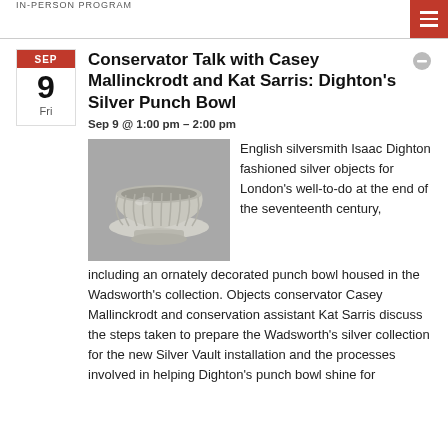IN-PERSON PROGRAM
Conservator Talk with Casey Mallinckrodt and Kat Sarris: Dighton's Silver Punch Bowl
Sep 9 @ 1:00 pm – 2:00 pm
[Figure (photo): Silver punch bowl on a grey background]
English silversmith Isaac Dighton fashioned silver objects for London's well-to-do at the end of the seventeenth century, including an ornately decorated punch bowl housed in the Wadsworth's collection. Objects conservator Casey Mallinckrodt and conservation assistant Kat Sarris discuss the steps taken to prepare the Wadsworth's silver collection for the new Silver Vault installation and the processes involved in helping Dighton's punch bowl shine for